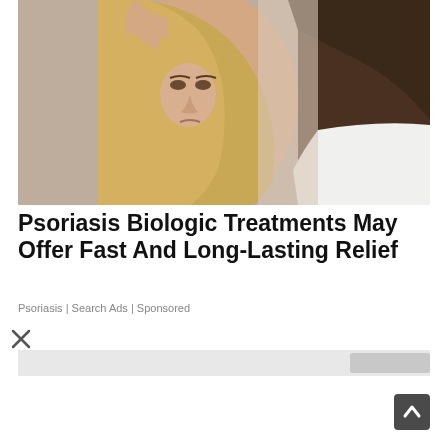[Figure (photo): Woman with blonde hair looking at her scalp in a mirror with a worried expression, holding her hair back with both hands. Another person visible from behind in the foreground.]
Psoriasis Biologic Treatments May Offer Fast And Long-Lasting Relief
Psoriasis | Search Ads | Sponsored
[Figure (screenshot): Partial view of a second advertisement banner, partially visible at the bottom of the page.]